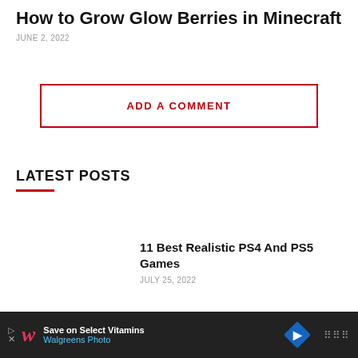How to Grow Glow Berries in Minecraft
JUNE 2, 2022
ADD A COMMENT
LATEST POSTS
11 Best Realistic PS4 And PS5 Games
JULY 25, 2022
Checkmark on Messenger – What
[Figure (infographic): Walgreens advertisement banner: Save on Select Vitamins, Walgreens Photo, with logo and navigation icon]